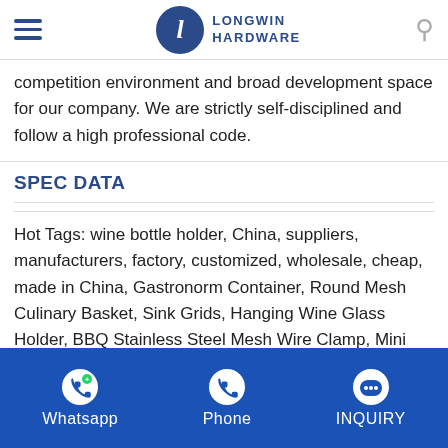Longwin Hardware
competition environment and broad development space for our company. We are strictly self-disciplined and follow a high professional code.
SPEC DATA
Hot Tags: wine bottle holder, China, suppliers, manufacturers, factory, customized, wholesale, cheap, made in China, Gastronorm Container, Round Mesh Culinary Basket, Sink Grids, Hanging Wine Glass Holder, BBQ Stainless Steel Mesh Wire Clamp, Mini Chips Fry Basket
Whatsapp | Phone | INQUIRY